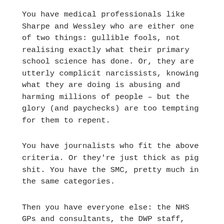You have medical professionals like Sharpe and Wessley who are either one of two things: gullible fools, not realising exactly what their primary school science has done. Or, they are utterly complicit narcissists, knowing what they are doing is abusing and harming millions of people – but the glory (and paychecks) are too tempting for them to repent.
You have journalists who fit the above criteria. Or they're just thick as pig shit. You have the SMC, pretty much in the same categories.
Then you have everyone else: the NHS GPs and consultants, the DWP staff, the charities. All so compliant, so servile, so forelock-tugging and